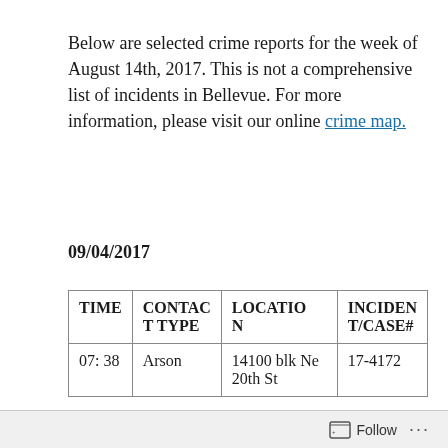Below are selected crime reports for the week of August 14th, 2017. This is not a comprehensive list of incidents in Bellevue. For more information, please visit our online crime map.
09/04/2017
| TIME | CONTACT TYPE | LOCATION | INCIDENT/CASE# |
| --- | --- | --- | --- |
| 07: 38 | Arson | 14100 blk Ne 20th St | 17-4172 |
Follow ···